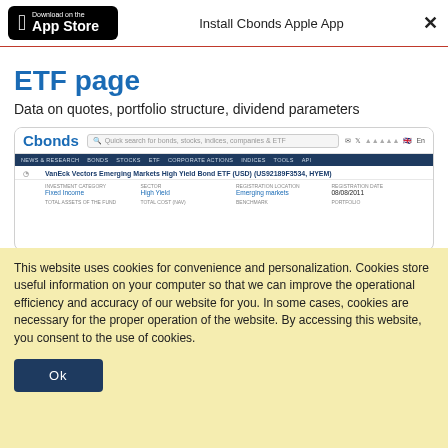Download on the App Store  |  Install Cbonds Apple App  |  ✕
ETF page
Data on quotes, portfolio structure, dividend parameters
[Figure (screenshot): Cbonds website screenshot showing ETF page for VanEck Vectors Emerging Markets High Yield Bond ETF (USD) (US92189F3534, HYEM) with navigation bar, menu, and fund details grid including Investment Category: Fixed Income, Sector: High Yield, Registration Location: Emerging markets, Registration Date: 08/08/2011]
This website uses cookies for convenience and personalization. Cookies store useful information on your computer so that we can improve the operational efficiency and accuracy of our website for you. In some cases, cookies are necessary for the proper operation of the website. By accessing this website, you consent to the use of cookies.
Ok